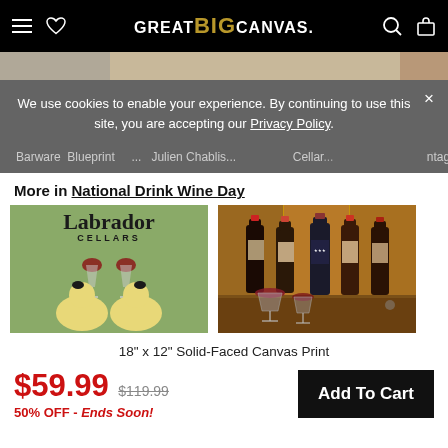GREAT BIG CANVAS.
[Figure (screenshot): Cookie consent banner over a product listing page for GreatBigCanvas.com]
We use cookies to enable your experience. By continuing to use this site, you are accepting our Privacy Policy.
Barware Blueprint... Julien Chablis... Cellar... vintage...
More in National Drink Wine Day
[Figure (photo): Labrador Cellars canvas art showing two yellow labs with wine glasses]
[Figure (photo): Canvas art showing wine bottles and glasses on a bar]
18" x 12" Solid-Faced Canvas Print
$59.99  $119.99  50% OFF - Ends Soon!